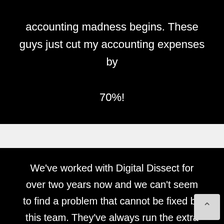accounting madness begins. These guys just cut my accounting expenses by 70%!
We've worked with Digital Dissect for over two years now and we can't seem to find a problem that cannot be fixed by this team. They've always run the extra mile for us when it comes to helping us